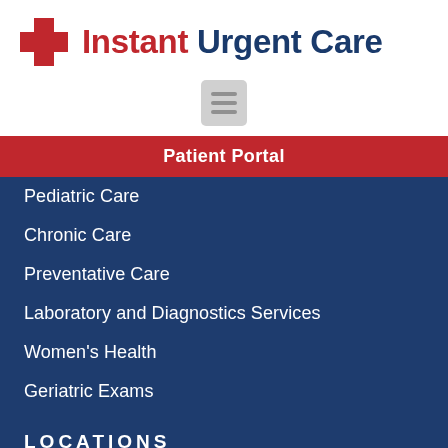Instant Urgent Care
[Figure (other): Hamburger/menu icon button]
Patient Portal
Pediatric Care
Chronic Care
Preventative Care
Laboratory and Diagnostics Services
Women's Health
Geriatric Exams
LOCATIONS
Berkeley
Dublin
Palo Alto